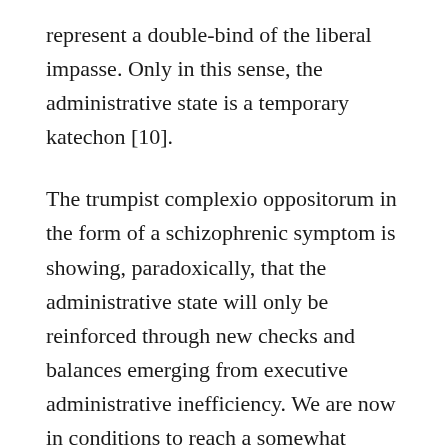represent a double-bind of the liberal impasse. Only in this sense, the administrative state is a temporary katechon [10].
The trumpist complexio oppositorum in the form of a schizophrenic symptom is showing, paradoxically, that the administrative state will only be reinforced through new checks and balances emerging from executive administrative inefficiency. We are now in conditions to reach a somewhat different conclusion from that of Hamburger's: we are far from an absolutist monarchic regime, since the human cannot